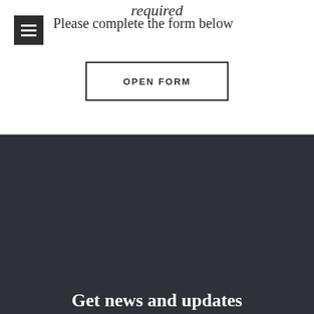required
Please complete the form below
OPEN FORM
Get news and updates
Email Address
SIGN UP